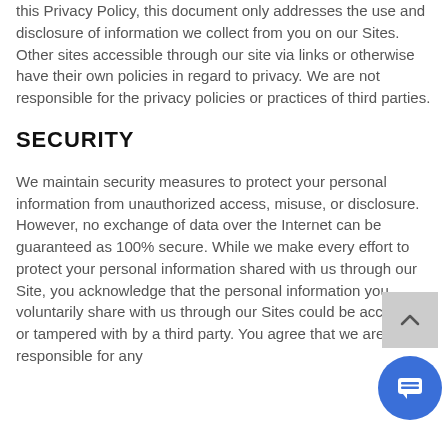this Privacy Policy, this document only addresses the use and disclosure of information we collect from you on our Sites. Other sites accessible through our site via links or otherwise have their own policies in regard to privacy. We are not responsible for the privacy policies or practices of third parties.
SECURITY
We maintain security measures to protect your personal information from unauthorized access, misuse, or disclosure. However, no exchange of data over the Internet can be guaranteed as 100% secure. While we make every effort to protect your personal information shared with us through our Site, you acknowledge that the personal information you voluntarily share with us through our Sites could be accessed or tampered with by a third party. You agree that we are not responsible for any